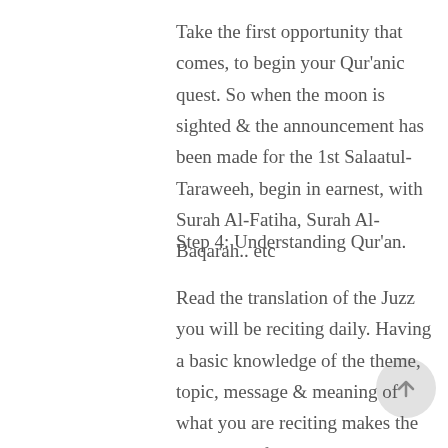Take the first opportunity that comes, to begin your Qur'anic quest. So when the moon is sighted & the announcement has been made for the 1st Salaatul-Taraweeh, begin in earnest, with Surah Al-Fatiha, Surah Al-Baqarah.. etc
Step 4: Understanding Qur'an.
Read the translation of the Juzz you will be reciting daily. Having a basic knowledge of the theme, topic, message & meaning of what you are reciting makes the recitation of the Qur'an an incredibly uplifting experience that you do not want to miss out on!